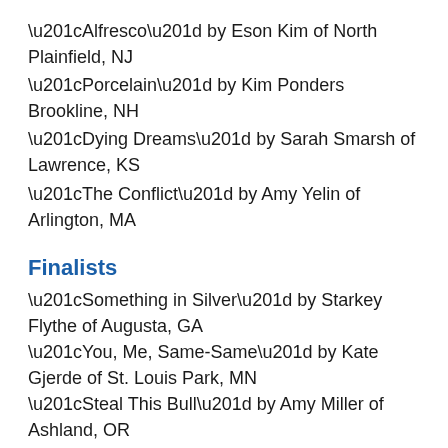“Alfresco” by Eson Kim of North Plainfield, NJ
“Porcelain” by Kim Ponders Brookline, NH
“Dying Dreams” by Sarah Smarsh of Lawrence, KS
“The Conflict” by Amy Yelin of Arlington, MA
Finalists
“Something in Silver” by Starkey Flythe of Augusta, GA
“You, Me, Same-Same” by Kate Gjerde of St. Louis Park, MN
“Steal This Bull” by Amy Miller of Ashland, OR
“A Biological Contradiction” by Lygia Navarro of Cincinnati, OH
“Divorcing Rhonda” by Scott Oglesby of New York, NY
“Today’s Writer” by Craig Rondinone of Lakewood, NJ
“Mrs. Anderson [Or a Study of Apocalypse as an